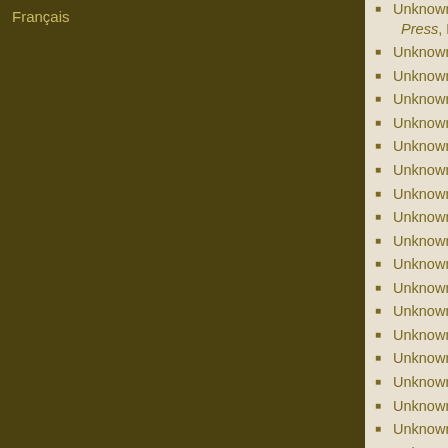Français
Unknown, Police Intelligence – Larceny – The Quebec Morning Chronicle Press, November 1, 1869
Unknown, Flogging A Prisoner at Toronto Gaol, Ca...
Unknown, Donnelly vs. Hullman, London Free Pre...
Unknown, Attempted Abduction in Biddulph, Lond...
Unknown, The Biddulph Ku-Klux, London Free Pr...
Unknown, Quarter Sessions, London Free Press, ...
Unknown, Middlesex Fall Assizes, London Free P...
Unknown, Stage Collision, London Advertiser, Se...
Unknown, Incendiary Fire, London Free Press, O...
Unknown, Stages Leaving London , London Free...
Unknown, An Assault Case, London Free Press, N...
Unknown, Murderous Attack, London Free Press, ...
Unknown, The Biddulph Assault Case, London Fr...
Unknown, Lucan Unpleasantness, London Free P...
Unknown, A Fine Which Was A Fine, London Free...
Unknown, More Lawlessness in Lucan, London Fr...
Unknown, William Donnelly Arrested, London Fre...
Unknown, Notice of Arrest of John Donnelly, Lond...
Unknown, The Donnelly Tribe, London Free Press...
Unknown, Lawlessness at Lucan, Donnellys on th... 25, 1876